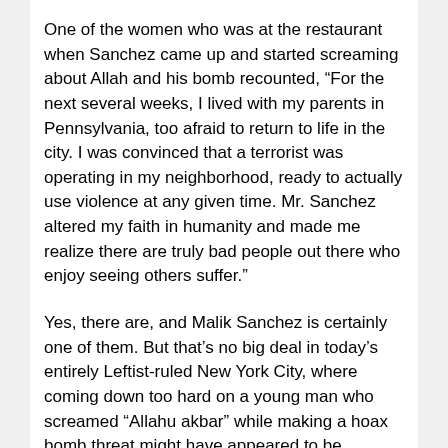One of the women who was at the restaurant when Sanchez came up and started screaming about Allah and his bomb recounted, “For the next several weeks, I lived with my parents in Pennsylvania, too afraid to return to life in the city. I was convinced that a terrorist was operating in my neighborhood, ready to actually use violence at any given time. Mr. Sanchez altered my faith in humanity and made me realize there are truly bad people out there who enjoy seeing others suffer.”
Yes, there are, and Malik Sanchez is certainly one of them. But that’s no big deal in today’s entirely Leftist-ruled New York City, where coming down too hard on a young man who screamed “Allahu akbar” while making a hoax bomb threat might have appeared to be “Islamophobic.” Now, Sanchez hopes to join the military and he will likely have no trouble getting in, as no one in Gen. Mark Milley’s woke armed forces will care that he